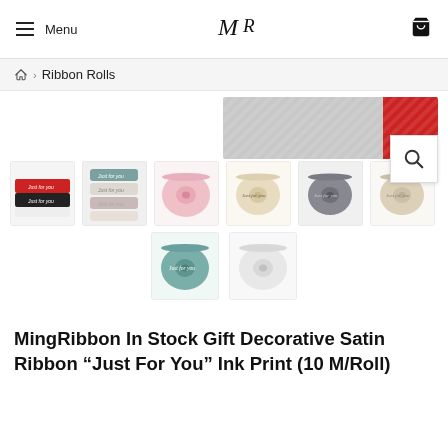Menu | MR Logo | Cart
Home > Ribbon Rolls
[Figure (photo): Product image gallery showing multiple ribbon roll spools in various colors (red/black/white, multi-stacked, pink, cream, dark grey, beige, teal, white) with 'Just For You' ink print, plus a partial main image with magnifier button]
MingRibbon In Stock Gift Decorative Satin Ribbon “Just For You” Ink Print (10 M/Roll)